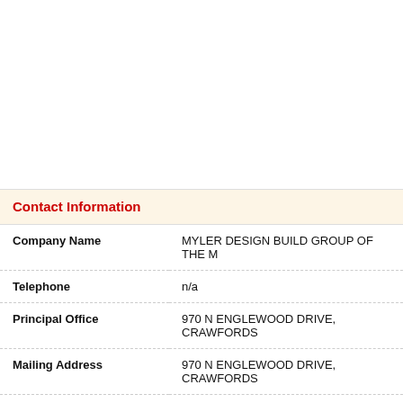Contact Information
| Company Name | MYLER DESIGN BUILD GROUP OF THE M... |
| Telephone | n/a |
| Principal Office | 970 N ENGLEWOOD DRIVE, CRAWFORDS... |
| Mailing Address | 970 N ENGLEWOOD DRIVE, CRAWFORDS... |
| Email | n/a |